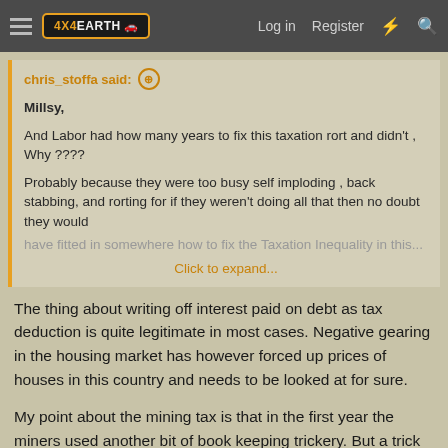4X4EARTH  Log in  Register
chris_stoffa said: ↗

Millsy,

And Labor had how many years to fix this taxation rort and didn't , Why ????

Probably because they were too busy self imploding , back stabbing, and rorting for if they weren't doing all that then no doubt they would have fitted in somewhere how to fix the Taxation Inequality in this...

Click to expand...
The thing about writing off interest paid on debt as tax deduction is quite legitimate in most cases. Negative gearing in the housing market has however forced up prices of houses in this country and needs to be looked at for sure.
My point about the mining tax is that in the first year the miners used another bit of book keeping trickery. But a trick that they could only use for one year as far as I could understand. Since the mining tax was, is, based on annual profits, the miners